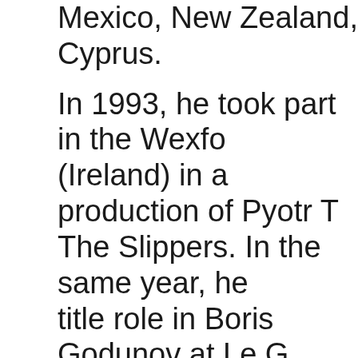Mexico, New Zealand, Cyprus. In 1993, he took part in the Wexford (Ireland) in a production of Pyotr The Slippers. In the same year, he title role in Boris Godunov at Le G Theatre de Geneve. In 1994, he sang the part of the H Rimsky-Korsakov's May Night at t Philharmonic and he sang the title Godunov at Chicago's Lyric Theat